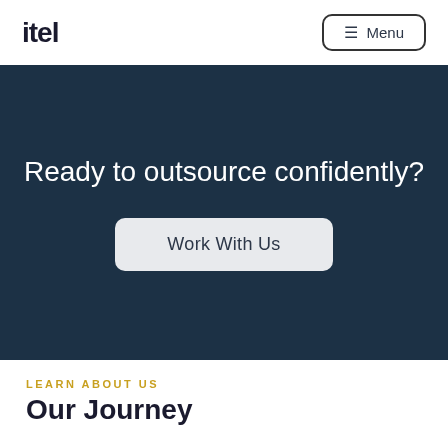itel
Menu
Ready to outsource confidently?
Work With Us
LEARN ABOUT US
Our Journey